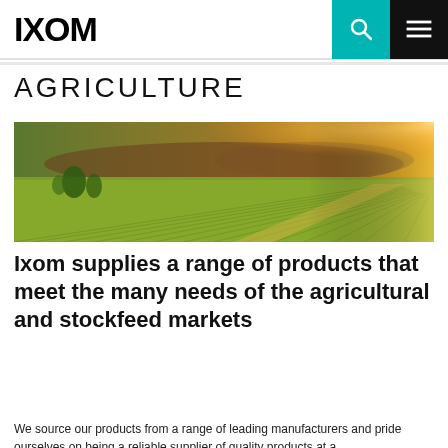IXOM
AGRICULTURE
[Figure (photo): Wide panoramic photo of green agricultural crop rows with warm golden sunlight in the background and hills in the distance]
Ixom supplies a range of products that meet the many needs of the agricultural and stockfeed markets
We source our products from a range of leading manufacturers and pride ourselves on being a reliable supplier of quality products at a